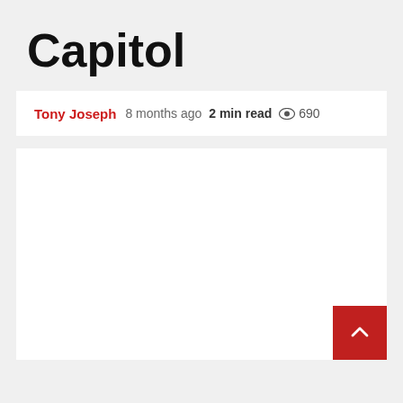Capitol
Tony Joseph  8 months ago  2 min read  690
[Figure (other): White content area with a red back-to-top button in the bottom right corner containing an upward chevron arrow]